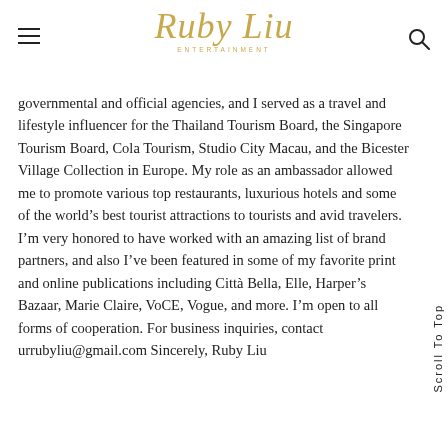Ruby Liu Entertainment
governmental and official agencies, and I served as a travel and lifestyle influencer for the Thailand Tourism Board, the Singapore Tourism Board, Cola Tourism, Studio City Macau, and the Bicester Village Collection in Europe. My role as an ambassador allowed me to promote various top restaurants, luxurious hotels and some of the world’s best tourist attractions to tourists and avid travelers. I’m very honored to have worked with an amazing list of brand partners, and also I’ve been featured in some of my favorite print and online publications including Città Bella, Elle, Harper’s Bazaar, Marie Claire, VoCE, Vogue, and more. I’m open to all forms of cooperation. For business inquiries, contact urrubyliu@gmail.com Sincerely, Ruby Liu